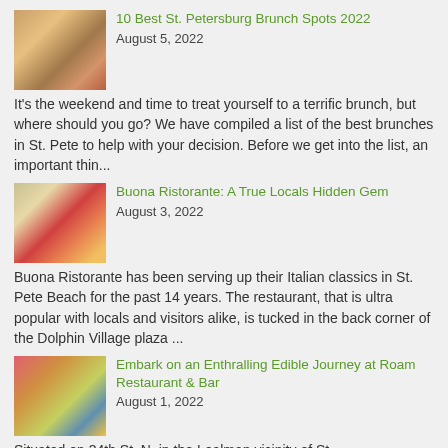[Figure (photo): Thumbnail image of a brunch sandwich/burger]
10 Best St. Petersburg Brunch Spots 2022
August 5, 2022
It's the weekend and time to treat yourself to a terrific brunch, but where should you go? We have compiled a list of the best brunches in St. Pete to help with your decision. Before we get into the list, an important thin...
[Figure (photo): Thumbnail image of Italian food dishes]
Buona Ristorante: A True Locals Hidden Gem
August 3, 2022
Buona Ristorante has been serving up their Italian classics in St. Pete Beach for the past 14 years. The restaurant, that is ultra popular with locals and visitors alike, is tucked in the back corner of the Dolphin Village plaza ...
[Figure (photo): Thumbnail image of food and drinks at Roam Restaurant]
Embark on an Enthralling Edible Journey at Roam Restaurant & Bar
August 1, 2022
Situated on 34th St. N, in the Lealman vicinity of St.